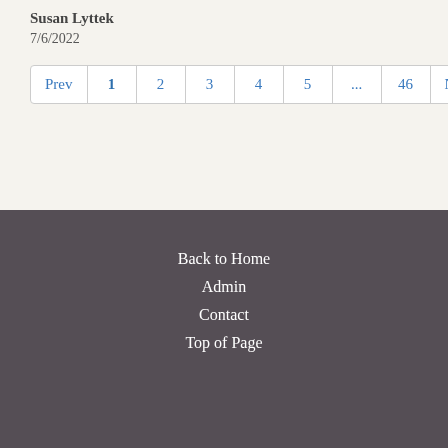Susan Lyttek
7/6/2022
Prev 1 2 3 4 5 ... 46 Next
Back to Home
Admin
Contact
Top of Page